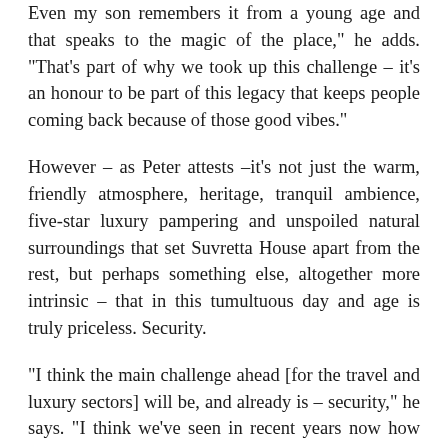Even my son remembers it from a young age and that speaks to the magic of the place," he adds. "That's part of why we took up this challenge – it's an honour to be part of this legacy that keeps people coming back because of those good vibes."
However – as Peter attests –it's not just the warm, friendly atmosphere, heritage, tranquil ambience, five-star luxury pampering and unspoiled natural surroundings that set Suvretta House apart from the rest, but perhaps something else, altogether more intrinsic – that in this tumultuous day and age is truly priceless. Security.
"I think the main challenge ahead [for the travel and luxury sectors] will be, and already is – security," he says. "I think we've seen in recent years now how volatile the world can be. I think anywhere we go; we all want to feel secure. I feel safe here, and I've noticed that with people coming from crisis locations – they